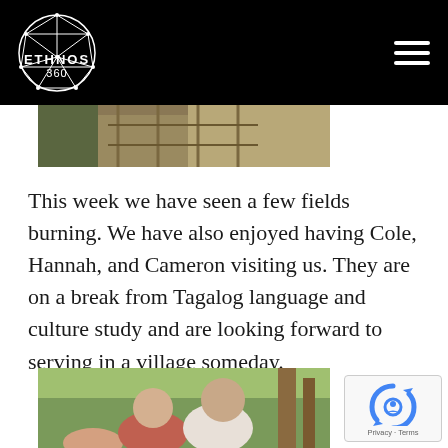ETHNOS 360
[Figure (photo): Partial top image strip showing outdoor scene]
This week we have seen a few fields burning. We have also enjoyed having Cole, Hannah, and Cameron visiting us. They are on a break from Tagalog language and culture study and are looking forward to serving in a village someday.
[Figure (photo): Family photo showing a woman, man, and child outdoors with greenery in the background]
[Figure (other): reCAPTCHA badge with Privacy and Terms links]